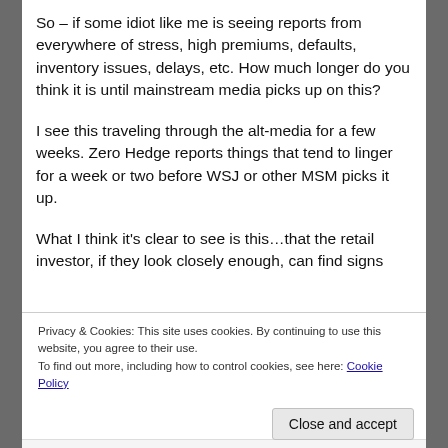So – if some idiot like me is seeing reports from everywhere of stress, high premiums, defaults, inventory issues, delays, etc. How much longer do you think it is until mainstream media picks up on this?
I see this traveling through the alt-media for a few weeks. Zero Hedge reports things that tend to linger for a week or two before WSJ or other MSM picks it up.
What I think it's clear to see is this…that the retail investor, if they look closely enough, can find signs
Privacy & Cookies: This site uses cookies. By continuing to use this website, you agree to their use.
To find out more, including how to control cookies, see here: Cookie Policy
Close and accept